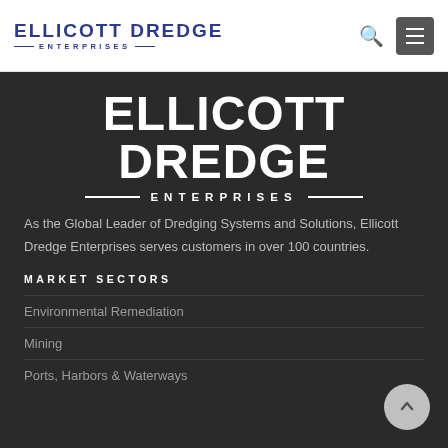[Figure (logo): Ellicott Dredge Enterprises logo in blue with horizontal lines and subtitle]
ELLICOTT DREDGE ENTERPRISES (header navigation with search and menu icons)
[Figure (logo): Large white Ellicott Dredge Enterprises logo on dark background]
As the Global Leader of Dredging Systems and Solutions, Ellicott Dredge Enterprises serves customers in over 100 countries.
MARKET SECTORS
Environmental Remediation
Mining
Ports, Harbors & Waterways